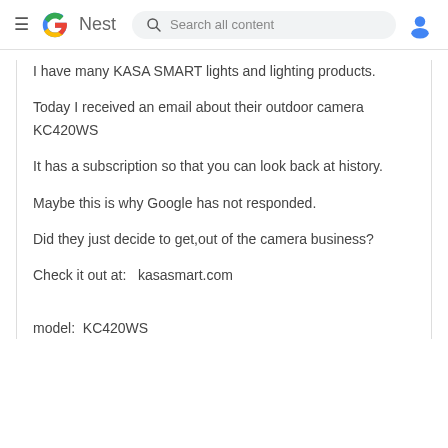Google Nest — Search all content
I have many KASA SMART lights and lighting products.

Today I received an email about their outdoor camera KC420WS

It has a subscription so that you can look back at history.

Maybe this is why Google has not responded.

Did they just decide to get,out of the camera business?

Check it out at:   kasasmart.com


model:  KC420WS